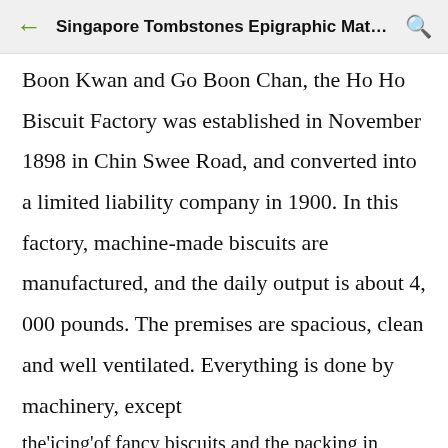Singapore Tombstones Epigraphic Material...
Boon Kwan and Go Boon Chan, the Ho Ho Biscuit Factory was established in November 1898 in Chin Swee Road, and converted into a limited liability company in 1900. In this factory, machine-made biscuits are manufactured, and the daily output is about 4, 000 pounds. The premises are spacious, clean and well ventilated. Everything is done by machinery, except the'icing'of fancy biscuits and the packing in boxes. By machinery the sugar is ground and sifted, and the flour is mixed and kneaded into dough. Then the prepared dough is passed under a roller and thence on to the stamping and cutting press. The cakes fall into trays and pass on to men who carry them to the oven. During the passage through the oven, the